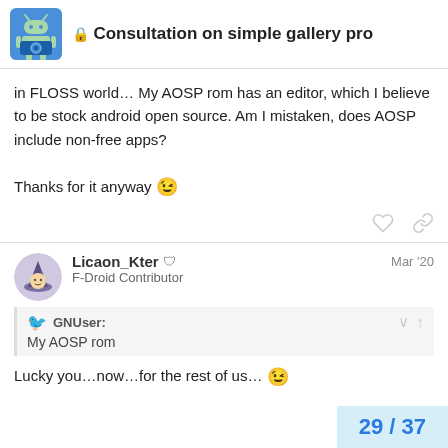Consultation on simple gallery pro
in FLOSS world… My AOSP rom has an editor, which I believe to be stock android open source. Am I mistaken, does AOSP include non-free apps?

Thanks for it anyway 😉
Licaon_Kter 🛡 Mar '20
F-Droid Contributor
GNUser:
My AOSP rom
Lucky you…now…for the rest of us… 😉
29 / 37